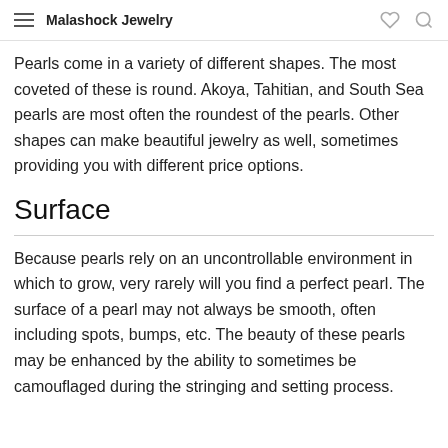Malashock Jewelry
Pearls come in a variety of different shapes. The most coveted of these is round. Akoya, Tahitian, and South Sea pearls are most often the roundest of the pearls. Other shapes can make beautiful jewelry as well, sometimes providing you with different price options.
Surface
Because pearls rely on an uncontrollable environment in which to grow, very rarely will you find a perfect pearl. The surface of a pearl may not always be smooth, often including spots, bumps, etc. The beauty of these pearls may be enhanced by the ability to sometimes be camouflaged during the stringing and setting process.